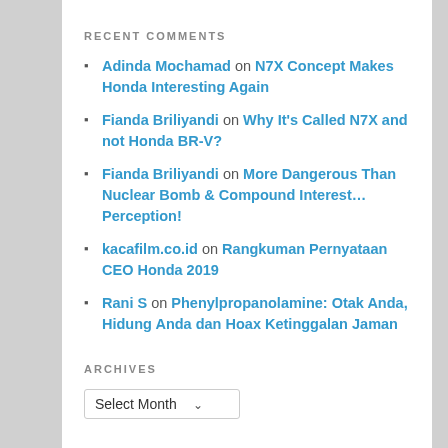RECENT COMMENTS
Adinda Mochamad on N7X Concept Makes Honda Interesting Again
Fianda Briliyandi on Why It's Called N7X and not Honda BR-V?
Fianda Briliyandi on More Dangerous Than Nuclear Bomb & Compound Interest… Perception!
kacafilm.co.id on Rangkuman Pernyataan CEO Honda 2019
Rani S on Phenylpropanolamine: Otak Anda, Hidung Anda dan Hoax Ketinggalan Jaman
ARCHIVES
Select Month (dropdown)
CATEGORIES
Select Category (dropdown)
META